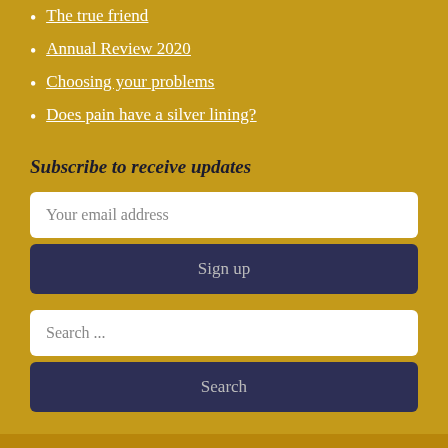The true friend
Annual Review 2020
Choosing your problems
Does pain have a silver lining?
Subscribe to receive updates
Your email address
Sign up
Search ...
Search